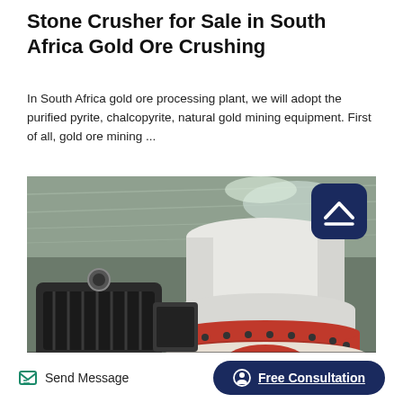Stone Crusher for Sale in South Africa Gold Ore Crushing
In South Africa gold ore processing plant, we will adopt the purified pyrite, chalcopyrite, natural gold mining equipment. First of all, gold ore mining ...
[Figure (photo): Photograph of a large industrial stone crusher machine inside a factory/warehouse, showing a white cylindrical cone crusher with a red base ring and bolts, alongside a dark motor unit, viewed from below against a corrugated metal roof. A dark navy rounded-square scroll-to-top button with a caret/up-arrow icon is overlaid in the top-right corner of the image.]
Send Message
Free Consultation